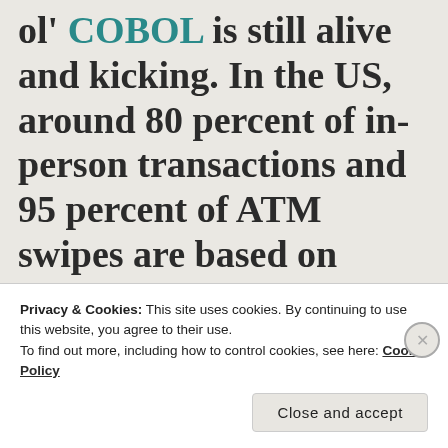ol' COBOL is still alive and kicking. In the US, around 80 percent of in-person transactions and 95 percent of ATM swipes are based on programs written in
Privacy & Cookies: This site uses cookies. By continuing to use this website, you agree to their use. To find out more, including how to control cookies, see here: Cookie Policy